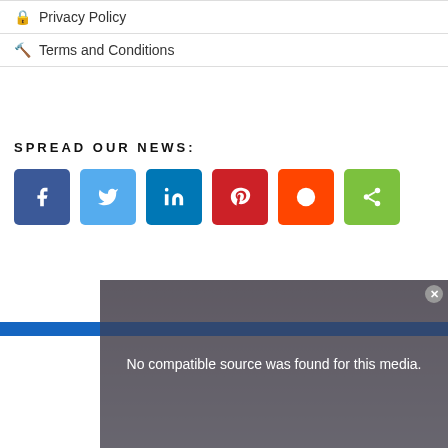🔒 Privacy Policy
⚒ Terms and Conditions
SPREAD OUR NEWS:
[Figure (infographic): Six social media share buttons: Facebook (blue), Twitter (light blue), LinkedIn (dark blue), Pinterest (red), Reddit (orange-red), Share (green)]
[Figure (screenshot): Video player overlay showing 'No compatible source was found for this media.' with a close button, overlaid on a background photo. Below it is an advertisement: 'Just $2 can protect 1 acre of irreplaceable forest homes in the Amazon. How many acres are you willing to protect?' with a PROTECT FORESTS NOW button.]